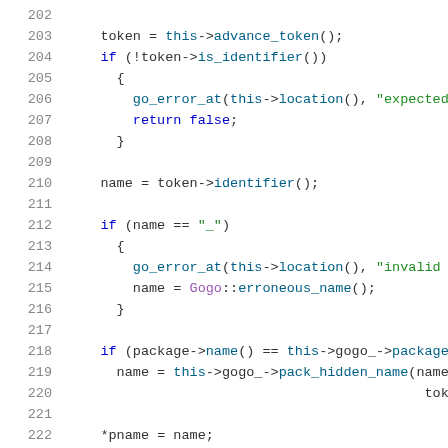[Figure (screenshot): Source code listing showing C++ code lines 202-222 with syntax highlighting. Line numbers in gray on the left, keywords in blue, string literals in green, class names in purple, and default code in dark/black.]